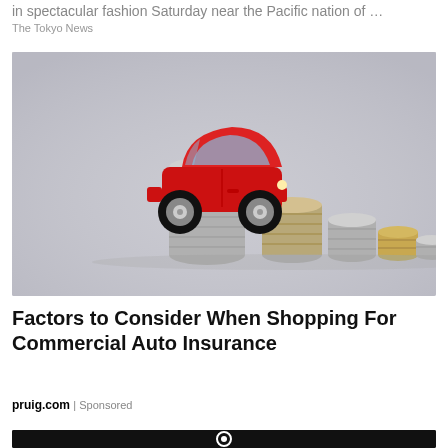in spectacular fashion Saturday near the Pacific nation of …
The Tokyo News
[Figure (photo): A red toy car sitting on top of a tall stack of coins, with progressively shorter stacks of coins arranged beside it on a gray background, illustrating commercial auto insurance or vehicle cost concepts.]
Factors to Consider When Shopping For Commercial Auto Insurance
pruig.com | Sponsored
[Figure (photo): Partial bottom image, dark background with a partial white circular logo or icon visible.]